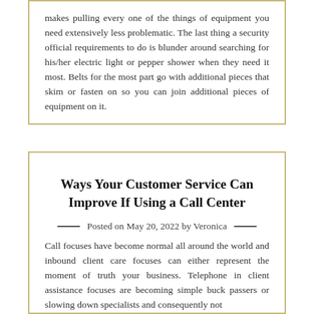makes pulling every one of the things of equipment you need extensively less problematic. The last thing a security official requirements to do is blunder around searching for his/her electric light or pepper shower when they need it most. Belts for the most part go with additional pieces that skim or fasten on so you can join additional pieces of equipment on it.
Ways Your Customer Service Can Improve If Using a Call Center
Posted on May 20, 2022 by Veronica
Call focuses have become normal all around the world and inbound client care focuses can either represent the moment of truth your business. Telephone in client assistance focuses are becoming simple buck passers or slowing down specialists and consequently not